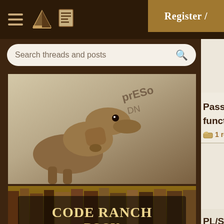CodeRanch forum header with navigation icons and Register / button
Search threads and posts
[Figure (photo): Partial dinosaur (raptor) figure with text in background, brown/tan coloring]
[Figure (illustration): Code Ranch Book Reviews banner image with western/old-west style lettering on bookshelf background]
[Figure (illustration): Amazing Invention? steampunk themed image with airship and gears, blue background with gold text]
Pass cursor iteration as function
1 reply
PL/SQL PLS-00905 Objec
2 replies
calling a PL/SQL procedu
3 replies
problem with a pl sql fu
3 replies